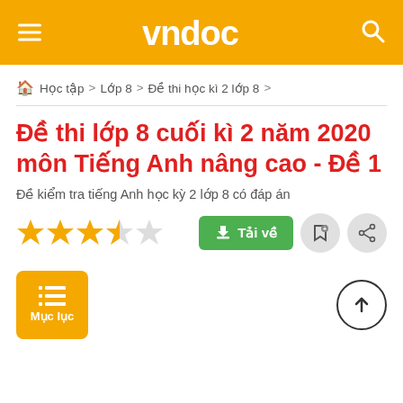vndoc
Học tập > Lớp 8 > Đề thi học kì 2 lớp 8 >
Đề thi lớp 8 cuối kì 2 năm 2020 môn Tiếng Anh nâng cao - Đề 1
Đề kiểm tra tiếng Anh học kỳ 2 lớp 8 có đáp án
[Figure (other): 3.5 out of 5 star rating]
Tải về
Mục lục